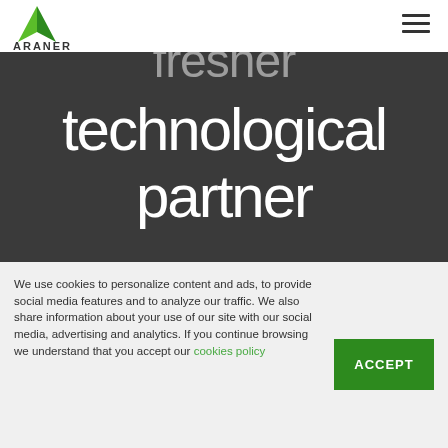[Figure (logo): ARANER company logo with green triangle/mountain icon above the text ARANER]
[Figure (other): Hamburger menu icon with three horizontal lines]
fresher technological partner
We use cookies to personalize content and ads, to provide social media features and to analyze our traffic. We also share information about your use of our site with our social media, advertising and analytics. If you continue browsing we understand that you accept our cookies policy
[Figure (other): Green ACCEPT button]